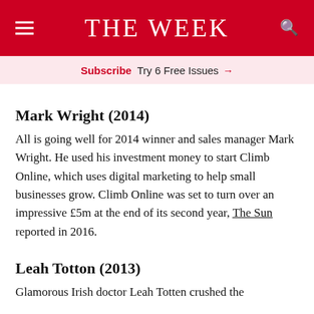THE WEEK
Subscribe  Try 6 Free Issues →
Mark Wright (2014)
All is going well for 2014 winner and sales manager Mark Wright. He used his investment money to start Climb Online, which uses digital marketing to help small businesses grow. Climb Online was set to turn over an impressive £5m at the end of its second year, The Sun reported in 2016.
Leah Totton (2013)
Glamorous Irish doctor Leah Totten crushed the